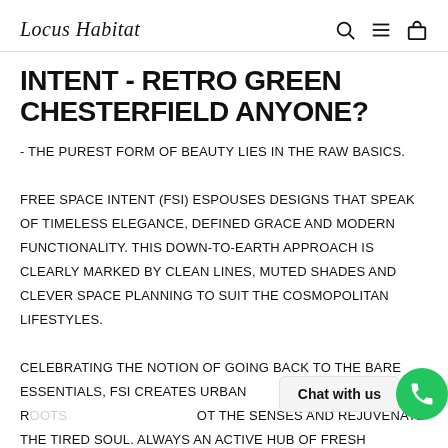Locus Habitat
INTENT - RETRO GREEN CHESTERFIELD ANYONE?
- THE PUREST FORM OF BEAUTY LIES IN THE RAW BASICS. FREE SPACE INTENT (FSI) ESPOUSES DESIGNS THAT SPEAK OF TIMELESS ELEGANCE, DEFINED GRACE AND MODERN FUNCTIONALITY. THIS DOWN-TO-EARTH APPROACH IS CLEARLY MARKED BY CLEAN LINES, MUTED SHADES AND CLEVER SPACE PLANNING TO SUIT THE COSMOPOLITAN LIFESTYLES. CELEBRATING THE NOTION OF GOING BACK TO THE BARE ESSENTIALS, FSI CREATES URBAN R[...] THE SENSES AND REJUVENATE THE TIRED SOUL. ALWAYS AN ACTIVE HUB OF FRESH DESIGNS, FSI PLAYS ALONG...